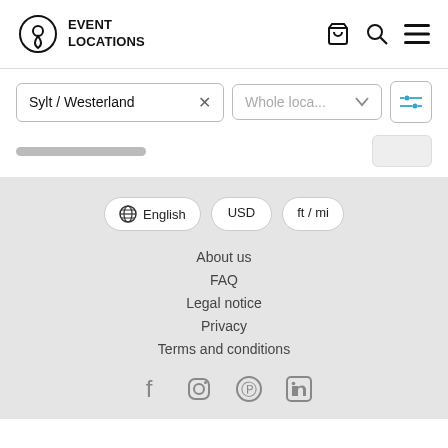EVENT LOCATIONS
[Figure (screenshot): Search bar with 'Sylt / Westerland' text input, 'Whole loca...' dropdown, and filter icon button]
About us
FAQ
Legal notice
Privacy
Terms and conditions
[Figure (infographic): Social media icons: Facebook, Instagram, Pinterest, LinkedIn]